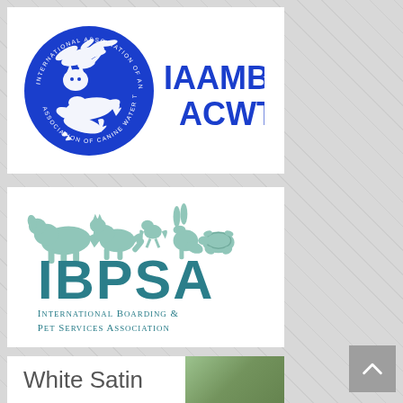[Figure (logo): IAAMB ACWT logo — International Association of Animal Massage and Bodywork / Association of Canine Water Therapy. Blue circular seal with white animal silhouettes (bird, cat, dog, dolphin), with 'IAAMB ACWT' text in bold blue to the right.]
[Figure (logo): IBPSA logo — International Boarding & Pet Services Association. Teal/sage green silhouettes of multiple pets (dog, cat, bird, rabbit, turtle etc.) above large 'IBPSA' text, with full name below in smaller caps.]
[Figure (photo): Partial view of a third logo/image with text 'White Satin' partially visible at bottom of page.]